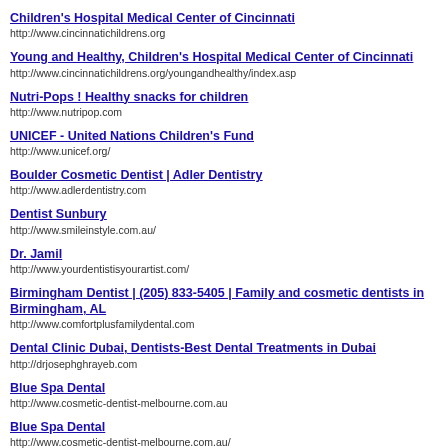Children's Hospital Medical Center of Cincinnati
http://www.cincinnatichildrens.org
Young and Healthy, Children's Hospital Medical Center of Cincinnati
http://www.cincinnatichildrens.org/youngandhealthy/index.asp
Nutri-Pops ! Healthy snacks for children
http://www.nutripop.com
UNICEF - United Nations Children's Fund
http://www.unicef.org/
Boulder Cosmetic Dentist | Adler Dentistry
http://www.adlerdentistry.com
Dentist Sunbury
http://www.smileinstyle.com.au/
Dr. Jamil
http://www.yourdentistisyourartist.com/
Birmingham Dentist | (205) 833-5405 | Family and cosmetic dentists in Birmingham, AL
http://www.comfortplusfamilydental.com
Dental Clinic Dubai, Dentists-Best Dental Treatments in Dubai
http://drjosephghrayeb.com
Blue Spa Dental
http://www.cosmetic-dentist-melbourne.com.au
Blue Spa Dental
http://www.cosmetic-dentist-melbourne.com.au/